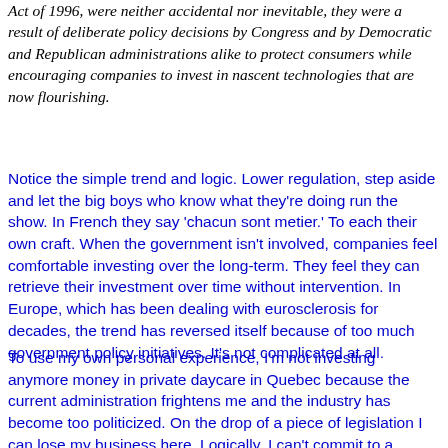Act of 1996, were neither accidental nor inevitable, they were a result of deliberate policy decisions by Congress and by Democratic and Republican administrations alike to protect consumers while encouraging companies to invest in nascent technologies that are now flourishing.
Notice the simple trend and logic. Lower regulation, step aside and let the big boys who know what they're doing run the show. In French they say 'chacun sont metier.' To each their own craft. When the government isn't involved, companies feel comfortable investing over the long-term. They feel they can retrieve their investment over time without intervention. In Europe, which has been dealing with eurosclerosis for decades, the trend has reversed itself because of too much government policy initiatives. It's not complicated at all.
To use my own personal experience, I'm not investing anymore money in private daycare in Quebec because the current administration frightens me and the industry has become too politicized. On the drop of a piece of legislation I can lose my business here. Logically, I can't commit to a